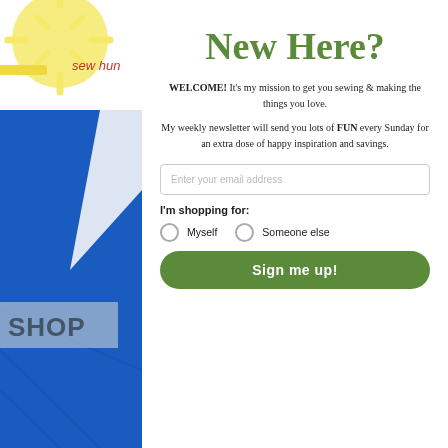[Figure (logo): Sew Hungry logo with sun rays graphic and red text 'sew hun' (partially visible), yellow sun shape top-left]
New Here?
WELCOME! It's my mission to get you sewing & making the things you love.
My weekly newsletter will send you lots of FUN every Sunday for an extra dose of happy inspiration and savings.
[Figure (photo): Blue fabric/material with white triangular fold and 'SHOP' text overlay on semi-transparent grey background]
I'm shopping for:
Myself   Someone else
Sign me up!